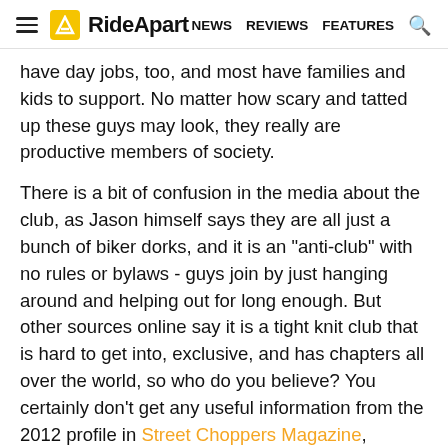RideApart — NEWS  REVIEWS  FEATURES
have day jobs, too, and most have families and kids to support. No matter how scary and tatted up these guys may look, they really are productive members of society.
There is a bit of confusion in the media about the club, as Jason himself says they are all just a bunch of biker dorks, and it is an "anti-club" with no rules or bylaws - guys join by just hanging around and helping out for long enough. But other sources online say it is a tight knit club that is hard to get into, exclusive, and has chapters all over the world, so who do you believe? You certainly don't get any useful information from the 2012 profile in Street Choppers Magazine, though it is pretty entertaining. Like many bike clubs, they basically do three things: help each other build each others...